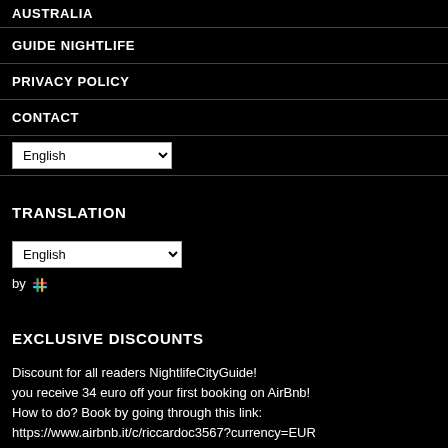AUSTRALIA
GUIDE NIGHTLIFE
PRIVACY POLICY
CONTACT
English (dropdown)
TRANSLATION
English (dropdown) by [colorful hash icon]
EXCLUSIVE DISCOUNTS
Discount for all readers NightlifeCityGuide! you receive 34 euro off your first booking on AirBnb! How to do? Book by going through this link: https://www.airbnb.it/c/riccardoc3567?currency=EUR